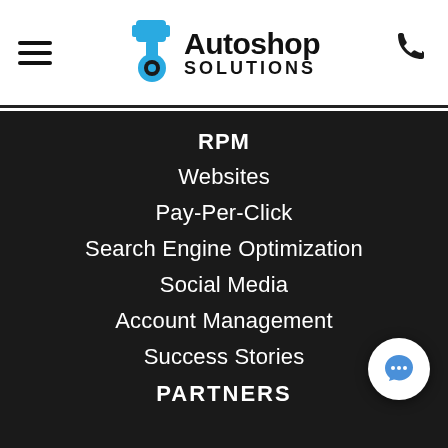[Figure (logo): Autoshop Solutions logo with piston/gear icon in blue and black text reading 'Autoshop SOLUTIONS']
RPM
Websites
Pay-Per-Click
Search Engine Optimization
Social Media
Account Management
Success Stories
PARTNERS